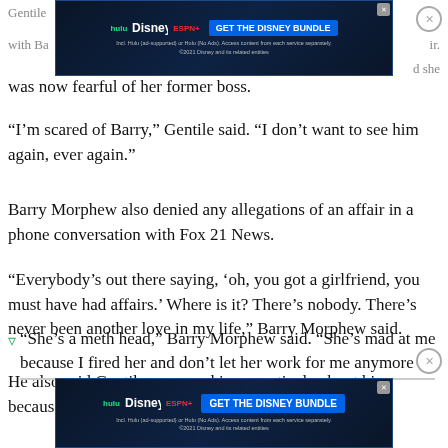[Figure (screenshot): Disney Bundle advertisement banner (Hulu, Disney+, ESPN+) at top of page]
Gentile [partially obscured] affair with Ba[rry] [partially obscured] and she was now fearful of her former boss.
“I’m scared of Barry,” Gentile said. “I don’t want to see him again, ever again.”
Barry Morphew also denied any allegations of an affair in a phone conversation with Fox 21 News.
“Everybody’s out there saying, ‘oh, you got a girlfriend, you must have had affairs.’ Where is it? There’s nobody. There’s never been another love in my life,” Barry Morphew said.
He also said Gentile was speaking negatively about him because she was angry over being fired.
“She’s a meth head,” Barry Morphew said. “She’s mad at me because I fired her and don’t let her work for me anymore
[Figure (screenshot): Disney Bundle advertisement banner (Hulu, Disney+, ESPN+) at bottom of page]